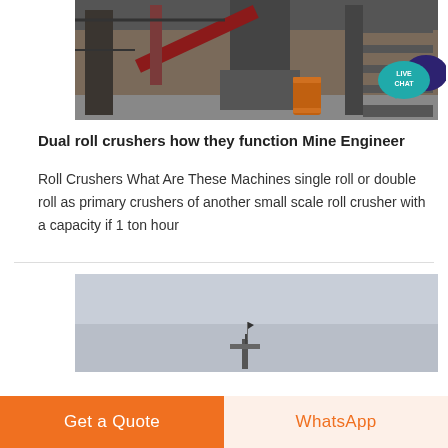[Figure (photo): Industrial machinery inside a factory with equipment and an orange barrel]
[Figure (illustration): Live Chat speech bubble icon in teal and dark purple]
Dual roll crushers how they function Mine Engineer
Roll Crushers What Are These Machines single roll or double roll as primary crushers of another small scale roll crusher with a capacity if 1 ton hour
[Figure (photo): Outdoor industrial equipment photo with grey sky background and small crane-like machinery]
Get a Quote
WhatsApp